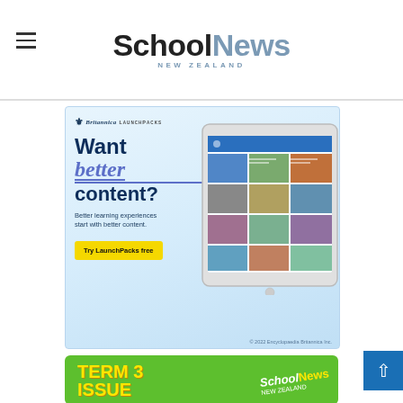SchoolNews NEW ZEALAND
[Figure (advertisement): Britannica LaunchPacks advertisement. Text: 'Want better content? Better learning experiences start with better content. Try LaunchPacks free'. Shows tablet device with educational content grid.]
[Figure (advertisement): School News New Zealand - Term 3 Issue advertisement on green background with yellow bold text.]